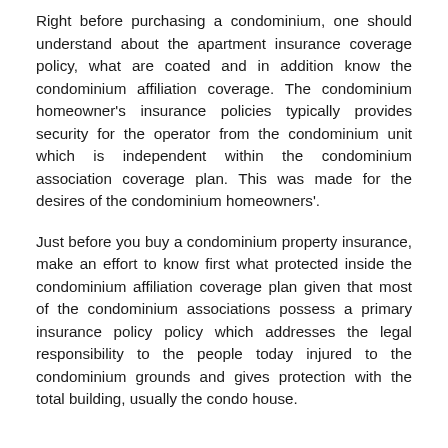Right before purchasing a condominium, one should understand about the apartment insurance coverage policy, what are coated and in addition know the condominium affiliation coverage. The condominium homeowner's insurance policies typically provides security for the operator from the condominium unit which is independent within the condominium association coverage plan. This was made for the desires of the condominium homeowners'.
Just before you buy a condominium property insurance, make an effort to know first what protected inside the condominium affiliation coverage plan given that most of the condominium associations possess a primary insurance policy policy which addresses the legal responsibility to the people today injured to the condominium grounds and gives protection with the total building, usually the condo house.